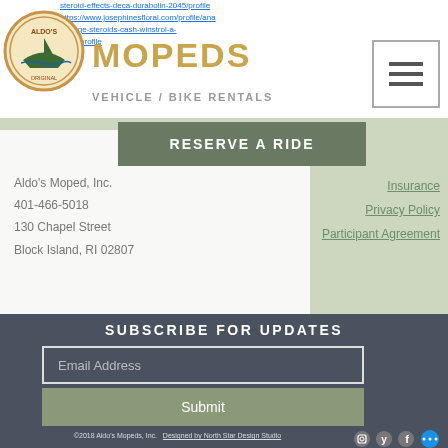steroid-effects-deca-durabolin-2045/profile https://www.josephinesfloral.com/profile/anadrolage-steroids-cash-winstrol-a-6260/profile
[Figure (logo): Aldo's Moped circular logo with boat graphic]
MOPEDS VEHICLE / BIKE RENTALS
[Figure (other): Hamburger menu icon with three horizontal lines in a box]
RESERVE A RIDE
Aldo's Moped, Inc.
401-466-5018
130 Chapel Street
Block Island, RI 02807
Insurance
Privacy Policy
Participant Agreement
SUBSCRIBE FOR UPDATES
Email Address
Submit
©2018 Aldo's Mopeds, Inc.
Designed by North Star Design Studio
[Figure (other): Social media icons: Instagram, Yelp, Facebook, and a blue chat/more button]